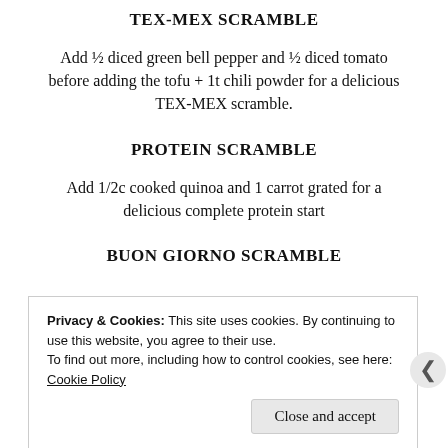TEX-MEX SCRAMBLE
Add ½ diced green bell pepper and ½ diced tomato before adding the tofu + 1t chili powder for a delicious TEX-MEX scramble.
PROTEIN SCRAMBLE
Add 1/2c cooked quinoa and 1 carrot grated for a delicious complete protein start
BUON GIORNO SCRAMBLE
Privacy & Cookies: This site uses cookies. By continuing to use this website, you agree to their use.
To find out more, including how to control cookies, see here: Cookie Policy
Close and accept